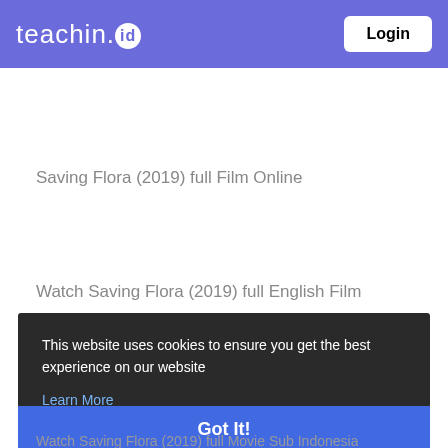teachin.id  Login
Saving Flora (2019) full Film Online
Watch Saving Flora (2019) full English Film
This website uses cookies to ensure you get the best experience on our website
Learn More
Got It!
Watch Saving Flora (2019) full Movie Sub Indonesia